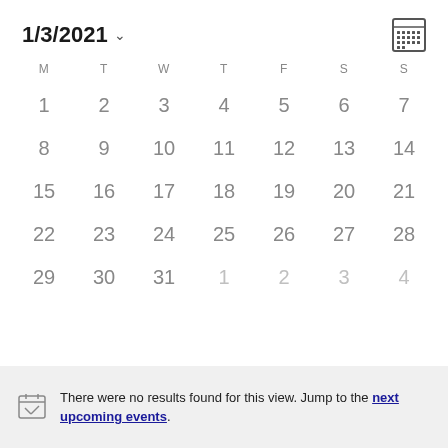1/3/2021
| M | T | W | T | F | S | S |
| --- | --- | --- | --- | --- | --- | --- |
| 1 | 2 | 3 | 4 | 5 | 6 | 7 |
| 8 | 9 | 10 | 11 | 12 | 13 | 14 |
| 15 | 16 | 17 | 18 | 19 | 20 | 21 |
| 22 | 23 | 24 | 25 | 26 | 27 | 28 |
| 29 | 30 | 31 | 1 | 2 | 3 | 4 |
There were no results found for this view. Jump to the next upcoming events.